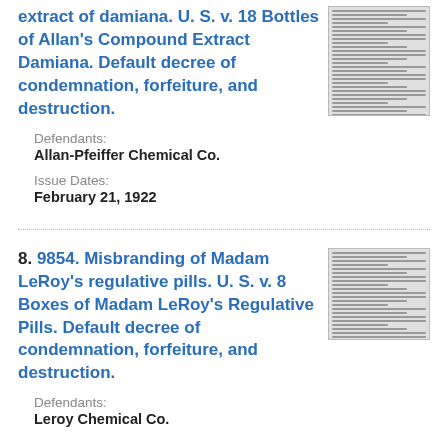extract of damiana. U. S. v. 18 Bottles of Allan's Compound Extract Damiana. Default decree of condemnation, forfeiture, and destruction.
Defendants:
Allan-Pfeiffer Chemical Co.
Issue Dates:
February 21, 1922
[Figure (other): Thumbnail image of a document page with dense text]
8. 9854. Misbranding of Madam LeRoy's regulative pills. U. S. v. 8 Boxes of Madam LeRoy's Regulative Pills. Default decree of condemnation, forfeiture, and destruction.
Defendants:
Leroy Chemical Co.
[Figure (other): Thumbnail image of a document page with dense text]